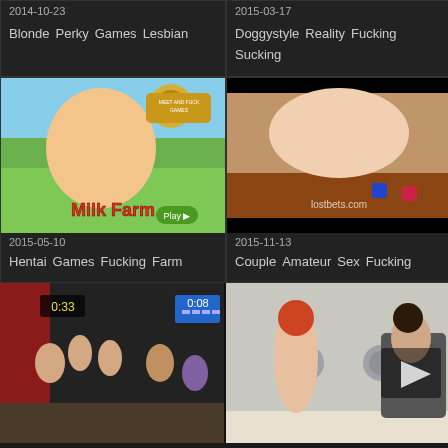2014-10-23
Blonde   Perky   Games   Lesbian
2015-03-17
Doggystyle   Reality   Fucking   Sucking
[Figure (photo): Animated Milk Farm game advertisement with cartoon characters]
2015-05-10
Hentai   Games   Fucking   Farm
[Figure (photo): Video thumbnail from lostbets.com showing people on a table with dice]
2015-11-13
Couple   Amateur   Sex   Fucking
[Figure (photo): Video thumbnail showing people with timer showing 0:33 and 0:08]
[Figure (photo): Video thumbnail showing two women in a room]